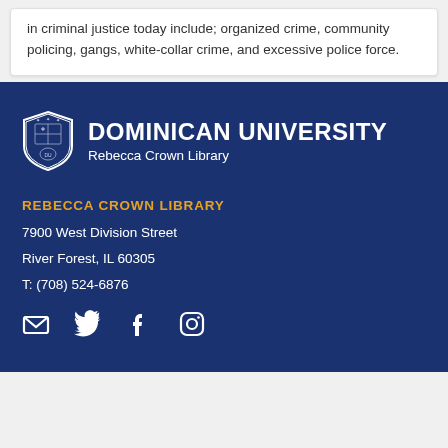in criminal justice today include; organized crime, community policing, gangs, white-collar crime, and excessive police force.
[Figure (logo): Dominican University Rebecca Crown Library logo: shield emblem on left, university name and library name in white text on dark blue background]
REBECCA CROWN LIBRARY
7900 West Division Street
River Forest, IL 60305
T: (708) 524-6876
[Figure (infographic): Social media icons: email envelope, Twitter bird, Facebook f, Instagram camera]